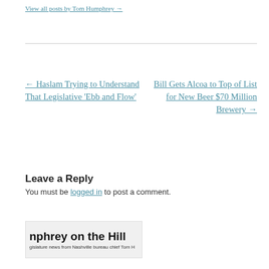View all posts by Tom Humphrey →
← Haslam Trying to Understand That Legislative 'Ebb and Flow'
Bill Gets Alcoa to Top of List for New Beer $70 Million Brewery →
Leave a Reply
You must be logged in to post a comment.
[Figure (logo): Humphrey on the Hill blog logo with tagline: legislature news from Nashville bureau chief Tom H]